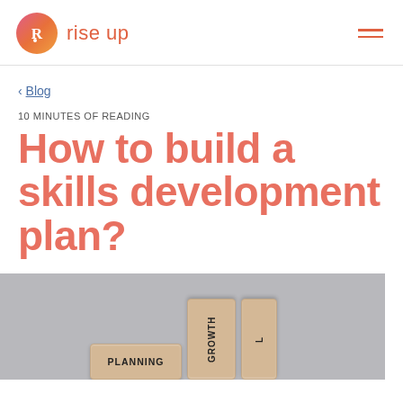rise up
< Blog
10 MINUTES OF READING
How to build a skills development plan?
[Figure (photo): Wooden letter blocks spelling PLANNING and GROWTH arranged on a light gray background]